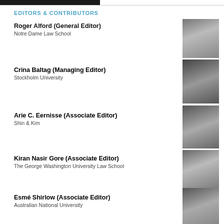[Figure (logo): Dark bar/logo at top left]
EDITORS & CONTRIBUTORS
Roger Alford (General Editor)
Notre Dame Law School
[Figure (photo): Black and white headshot of Roger Alford]
Crina Baltag (Managing Editor)
Stockholm University
[Figure (photo): Black and white headshot of Crina Baltag]
Arie C. Eernisse (Associate Editor)
Shin & Kim
[Figure (photo): Black and white headshot of Arie C. Eernisse]
Kiran Nasir Gore (Associate Editor)
The George Washington University Law School
[Figure (photo): Black and white headshot of Kiran Nasir Gore]
Esmé Shirlow (Associate Editor)
Australian National University
[Figure (photo): Black and white headshot of Esmé Shirlow]
Maria Fanou (Senior Assistant Editor)